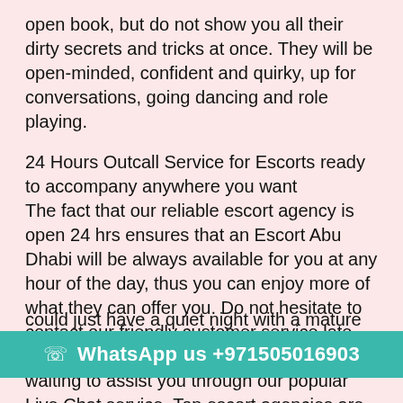open book, but do not show you all their dirty secrets and tricks at once. They will be open-minded, confident and quirky, up for conversations, going dancing and role playing.
24 Hours Outcall Service for Escorts ready to accompany anywhere you want
The fact that our reliable escort agency is open 24 hrs ensures that an Escort Abu Dhabi will be always available for you at any hour of the day, thus you can enjoy more of what they can offer you. Do not hesitate to contact our friendly customer service late night as our after midnight staff will be just waiting to assist you through our popular Live Chat service. Top escort agencies are not only limited to rendering sexual services, however, also include other service such as erotic massages (recommended for breaking the ice and getting things started), working girls accompanying you to different social events you have to attend, su... could just have a quiet night with a mature milfy callgirl
WhatsApp us +971505016903